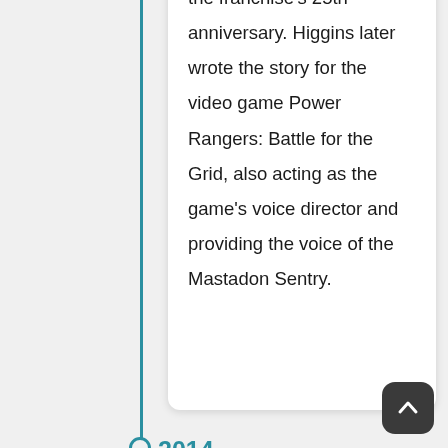the franchise's 25th anniversary. Higgins later wrote the story for the video game Power Rangers: Battle for the Grid, also acting as the game's voice director and providing the voice of the Mastadon Sentry.
2014
In January 2014, Higgins announced C.O.W.L., his first creator-owned ongoing series with Image Comics. The series, co-written by Alec Siegel and featuring art by Rod Reis, revisited the world created by Higgins in The League. C.O.W.L. explored superheroes from the lens of union